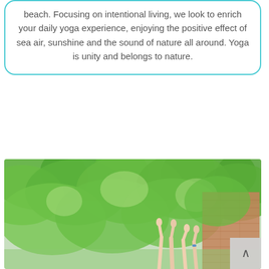beach. Focusing on intentional living, we look to enrich your daily yoga experience, enjoying the positive effect of sea air, sunshine and the sound of nature all around. Yoga is unity and belongs to nature.
[Figure (photo): Outdoor photo with lush green trees and people raising their hands/arms upward, with a brick building partially visible on the right side.]